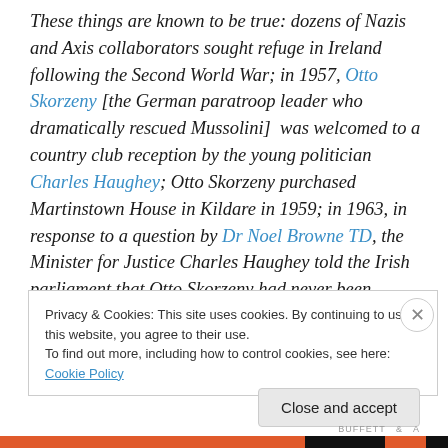These things are known to be true: dozens of Nazis and Axis collaborators sought refuge in Ireland following the Second World War; in 1957, Otto Skorzeny [the German paratroop leader who dramatically rescued Mussolini]  was welcomed to a country club reception by the young politician Charles Haughey; Otto Skorzeny purchased Martinstown House in Kildare in 1959; in 1963, in response to a question by Dr Noel Browne TD, the Minister for Justice Charles Haughey told the Irish parliament that Otto Skorzeny had never been resident in Ireland.
Privacy & Cookies: This site uses cookies. By continuing to use this website, you agree to their use. To find out more, including how to control cookies, see here: Cookie Policy
Close and accept